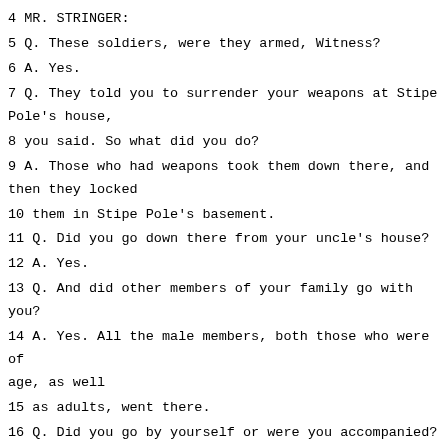4 MR. STRINGER:
5 Q. These soldiers, were they armed, Witness?
6 A. Yes.
7 Q. They told you to surrender your weapons at Stipe Pole's house,
8 you said. So what did you do?
9 A. Those who had weapons took them down there, and then they locked
10 them in Stipe Pole's basement.
11 Q. Did you go down there from your uncle's house?
12 A. Yes.
13 Q. And did other members of your family go with you?
14 A. Yes. All the male members, both those who were of age, as well
15 as adults, went there.
16 Q. Did you go by yourself or were you accompanied?
17 A. The two soldiers went with us. We went all of us together. The